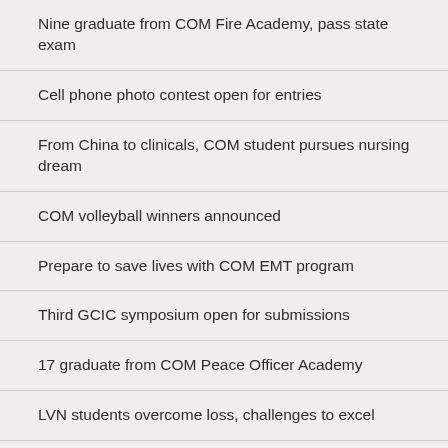Nine graduate from COM Fire Academy, pass state exam
Cell phone photo contest open for entries
From China to clinicals, COM student pursues nursing dream
COM volleyball winners announced
Prepare to save lives with COM EMT program
Third GCIC symposium open for submissions
17 graduate from COM Peace Officer Academy
LVN students overcome loss, challenges to excel
Football stars excel in dual credit classes